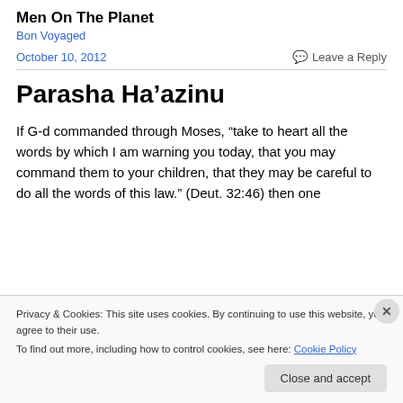Men On The Planet
Bon Voyaged
October 10, 2012
Leave a Reply
Parasha Ha’azinu
If G-d commanded through Moses, “take to heart all the words by which I am warning you today, that you may command them to your children, that they may be careful to do all the words of this law.” (Deut. 32:46) then one
Privacy & Cookies: This site uses cookies. By continuing to use this website, you agree to their use.
To find out more, including how to control cookies, see here: Cookie Policy